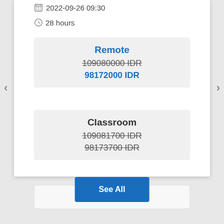2022-09-26 09:30
28 hours
Remote
109080000 IDR
98172000 IDR
Classroom
109081700 IDR
98173700 IDR
Read More
See All